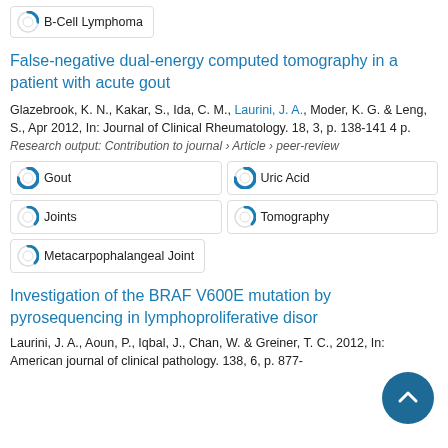B-Cell Lymphoma
False-negative dual-energy computed tomography in a patient with acute gout
Glazebrook, K. N., Kakar, S., Ida, C. M., Laurini, J. A., Moder, K. G. & Leng, S., Apr 2012, In: Journal of Clinical Rheumatology. 18, 3, p. 138-141 4 p.
Research output: Contribution to journal › Article › peer-review
Gout
Uric Acid
Joints
Tomography
Metacarpophalangeal Joint
Investigation of the BRAF V600E mutation by pyrosequencing in lymphoproliferative disor
Laurini, J. A., Aoun, P., Iqbal, J., Chan, W. & Greiner, T. C., 2012, In: American journal of clinical pathology. 138, 6, p. 877-